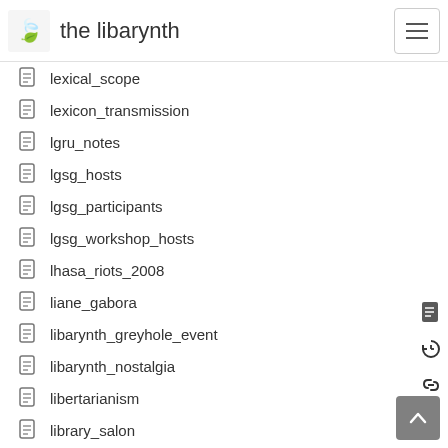the libarynth
lexical_scope
lexicon_transmission
lgru_notes
lgsg_hosts
lgsg_participants
lgsg_workshop_hosts
lhasa_riots_2008
liane_gabora
libarynth_greyhole_event
libarynth_nostalgia
libertarianism
library_salon
licensing
liesbeth_hiele
life_coding
life_cycle
life_extension
life_the_multiverse_and_everything